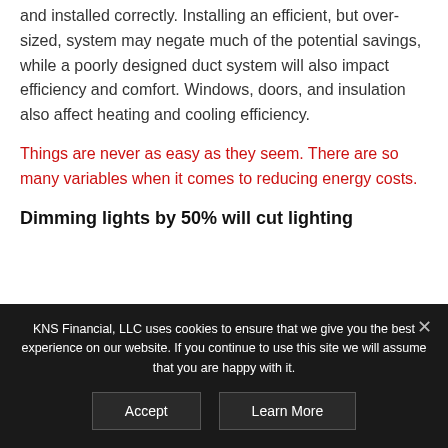and installed correctly. Installing an efficient, but over-sized, system may negate much of the potential savings, while a poorly designed duct system will also impact efficiency and comfort. Windows, doors, and insulation also affect heating and cooling efficiency.
Things are never as easy as they seem. There are so many variables when it comes to reducing energy costs.
Dimming lights by 50% will cut lighting
KNS Financial, LLC uses cookies to ensure that we give you the best experience on our website. If you continue to use this site we will assume that you are happy with it.